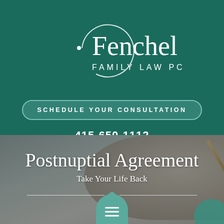[Figure (logo): Fenchel Family Law PC logo with circular arc and dot on dark teal background]
Fenchel
FAMILY LAW PC
SCHEDULE YOUR CONSULTATION
415-650-1112
[Figure (photo): Close-up photo of a hand holding a pen, signing a document, overlaid with dark teal transparent filter]
Postnuptial Agreement
Take Your Life Back